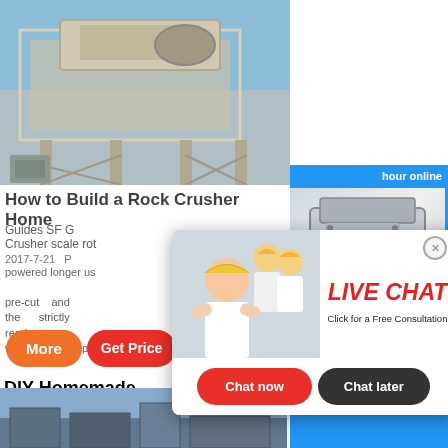[Figure (photo): Industrial rock crusher machine on elevated steel frame structure, outdoor setting with blue sky]
How to Build a Rock Crusher Home
Guides SF G
Crusher scale rot
2017-7-21
powered longer us
pre-cut and the strictly ready to weld-machined parts of
More
Get Price
DIY Homemade
hand-held Crusher the weld-machined parts of
Email contact
[Figure (photo): Industrial equipment/containers at bottom of page]
[Figure (photo): Live chat overlay popup with construction workers in hard hats, LIVE CHAT label, Chat now and Chat later buttons]
hour online
[Figure (photo): Rock crusher machine product image on right sidebar]
Click me to chat>>
Enquiry
yuwencrusher